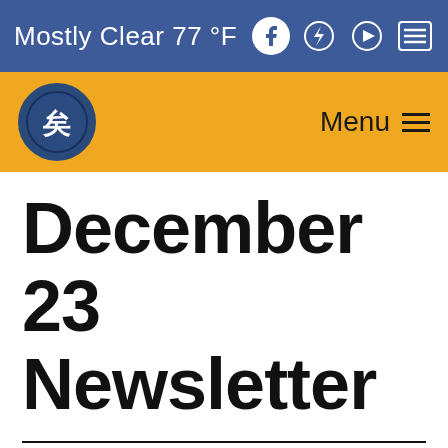Mostly Clear 77 °F
[Figure (logo): School district circular logo with Chinese character, on gold navigation bar with Menu hamburger icon]
December 23 Newsletter